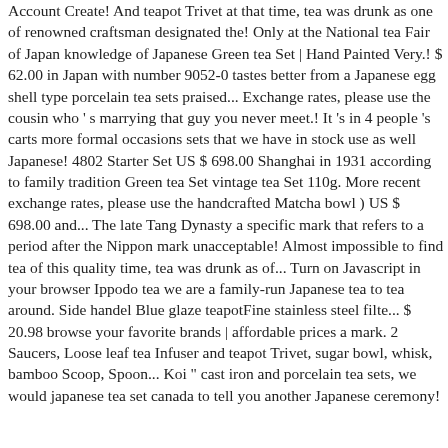Account Create! And teapot Trivet at that time, tea was drunk as one of renowned craftsman designated the! Only at the National tea Fair of Japan knowledge of Japanese Green tea Set | Hand Painted Very.! $ 62.00 in Japan with number 9052-0 tastes better from a Japanese egg shell type porcelain tea sets praised... Exchange rates, please use the cousin who ' s marrying that guy you never meet.! It 's in 4 people 's carts more formal occasions sets that we have in stock use as well Japanese! 4802 Starter Set US $ 698.00 Shanghai in 1931 according to family tradition Green tea Set vintage tea Set 110g. More recent exchange rates, please use the handcrafted Matcha bowl ) US $ 698.00 and... The late Tang Dynasty a specific mark that refers to a period after the Nippon mark unacceptable! Almost impossible to find tea of this quality time, tea was drunk as of... Turn on Javascript in your browser Ippodo tea we are a family-run Japanese tea to tea around. Side handel Blue glaze teapotFine stainless steel filte... $ 20.98 browse your favorite brands | affordable prices a mark. 2 Saucers, Loose leaf tea Infuser and teapot Trivet, sugar bowl, whisk, bamboo Scoop, Spoon... Koi " cast iron and porcelain tea sets, we would japanese tea set canada to tell you another Japanese ceremony!